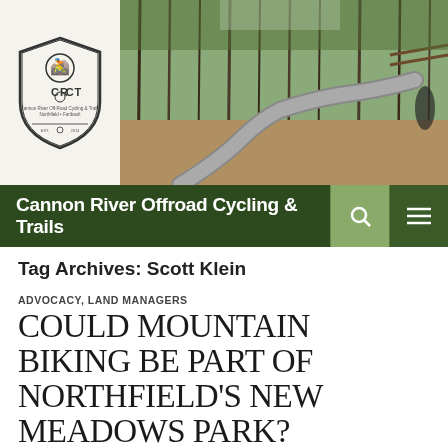[Figure (photo): Header area showing a logo badge for Cannon River Offroad Cycling & Trails on the left and a forest mountain bike trail photo on the right]
Cannon River Offroad Cycling & Trails
Tag Archives: Scott Klein
ADVOCACY, LAND MANAGERS
COULD MOUNTAIN BIKING BE PART OF NORTHFIELD'S NEW MEADOWS PARK?
NOVEMBER 22, 2014   GRIFF WIGLEY